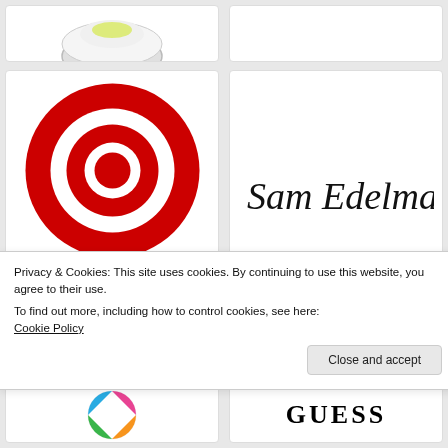[Figure (logo): Partial top-left card, cropped product or logo image]
[Figure (logo): Partial top-right card, empty/white space visible]
[Figure (logo): Target bullseye logo (red concentric circles) with TARGET text in red below]
[Figure (logo): Sam Edelman brand logo in handwritten/script black lettering]
Privacy & Cookies: This site uses cookies. By continuing to use this website, you agree to their use.
To find out more, including how to control cookies, see here:
Cookie Policy
[Figure (logo): Bottom-left partial card with colorful circular logo]
[Figure (logo): Bottom-right partial GUESS logo in serif bold text]